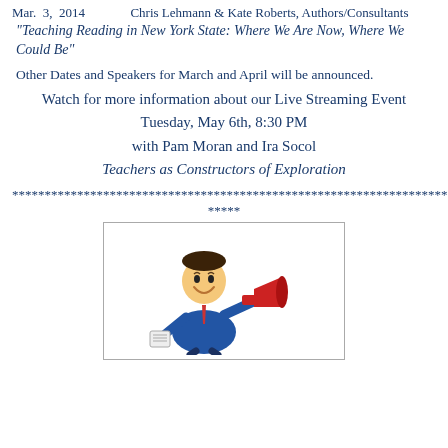Mar.  3,  2014       Chris Lehmann & Kate Roberts, Authors/Consultants
"Teaching Reading in New York State: Where We Are Now, Where We Could Be"
Other Dates and Speakers for March and April will be announced.
Watch for more information about our Live Streaming Event Tuesday, May 6th, 8:30 PM with Pam Moran and Ira Socol Teachers as Constructors of Exploration
***********************************************************************
*****
[Figure (illustration): Cartoon illustration of a man in a blue suit holding a red megaphone/bullhorn, appearing to make an announcement, with papers in hand, inside a bordered box.]